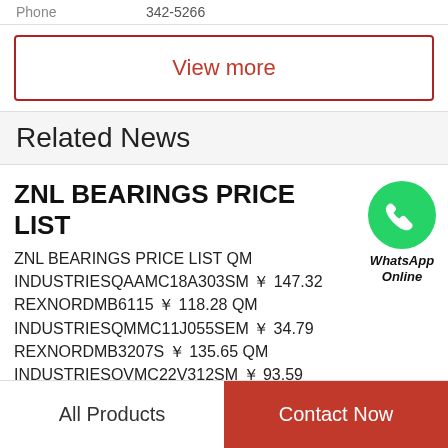Phone   342-5266
View more
Related News
ZNL BEARINGS PRICE LIST
[Figure (logo): WhatsApp green circle icon with white phone handset, labeled WhatsApp Online in italic bold]
ZNL BEARINGS PRICE LIST QM INDUSTRIESQAAMC18A303SM ￥ 147.32 REXNORDMB6115 ￥ 118.28 QM INDUSTRIESQMMC11J055SEM ￥ 34.79 REXNORDMB3207S ￥ 135.65 QM INDUSTRIESQVMC22V312SM ￥ 93.59 REXNORDMBR2112 ￥ 108.33 QM...
All Products   Contact Now